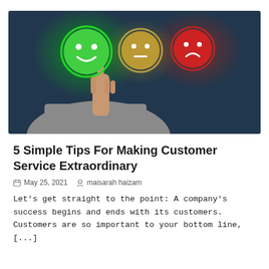[Figure (photo): A person pressing a glowing green smiley face emoji button, with neutral (yellow) and sad (red) emoji buttons beside it, on a dark blue background. Customer satisfaction rating concept.]
5 Simple Tips For Making Customer Service Extraordinary
May 25, 2021   maisarah haizam
Let's get straight to the point: A company's success begins and ends with its customers. Customers are so important to your bottom line, [...]